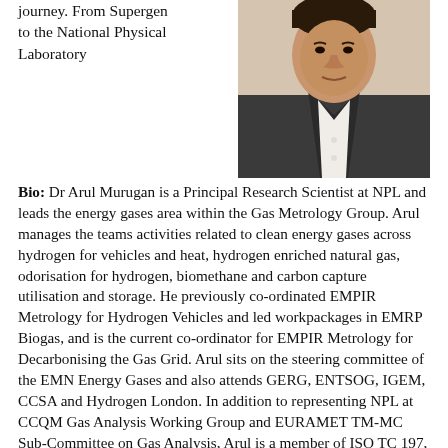journey. From Supergen to the National Physical Laboratory
[Figure (photo): Portrait photo of Dr Arul Murugan, a man in a dark blazer and white shirt]
Bio: Dr Arul Murugan is a Principal Research Scientist at NPL and leads the energy gases area within the Gas Metrology Group. Arul manages the teams activities related to clean energy gases across hydrogen for vehicles and heat, hydrogen enriched natural gas, odorisation for hydrogen, biomethane and carbon capture utilisation and storage. He previously co-ordinated EMPIR Metrology for Hydrogen Vehicles and led workpackages in EMRP Biogas, and is the current co-ordinator for EMPIR Metrology for Decarbonising the Gas Grid. Arul sits on the steering committee of the EMN Energy Gases and also attends GERG, ENTSOG, IGEM, CCSA and Hydrogen London. In addition to representing NPL at CCQM Gas Analysis Working Group and EURAMET TM-MC Sub-Committee on Gas Analysis, Arul is a member of ISO TC 197, ISO TC 158,